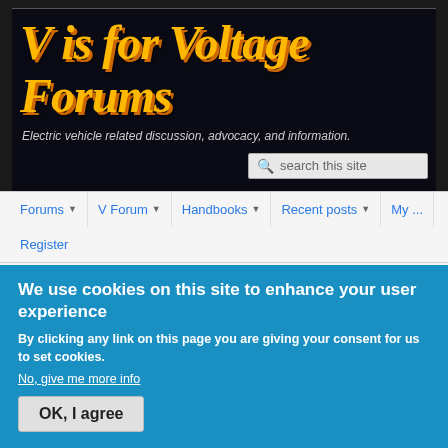[Figure (logo): V is for Voltage Forums logo — large italic yellow-orange text on dark background]
Electric vehicle related discussion, advocacy, and information.
search this site
Forums  V Forum  Handbooks  Recent posts  My ...  Register
Sign in
We use cookies on this site to enhance your user experience
By clicking any link on this page you are giving your consent for us to set cookies.
No, give me more info
OK, I agree